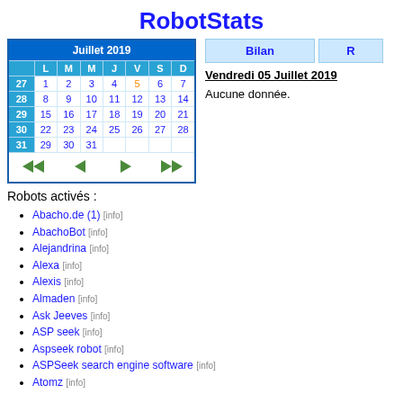RobotStats
|  | L | M | M | J | V | S | D |
| --- | --- | --- | --- | --- | --- | --- | --- |
| 27 | 1 | 2 | 3 | 4 | 5 | 6 | 7 |
| 28 | 8 | 9 | 10 | 11 | 12 | 13 | 14 |
| 29 | 15 | 16 | 17 | 18 | 19 | 20 | 21 |
| 30 | 22 | 23 | 24 | 25 | 26 | 27 | 28 |
| 31 | 29 | 30 | 31 |  |  |  |  |
Bilan
Vendredi 05 Juillet 2019
Aucune donnée.
Robots activés :
Abacho.de (1) [info]
AbachoBot [info]
Alejandrina [info]
Alexa [info]
Alexis [info]
Almaden [info]
Ask Jeeves [info]
ASP seek [info]
Aspseek robot [info]
ASPSeek search engine software [info]
Atomz [info]